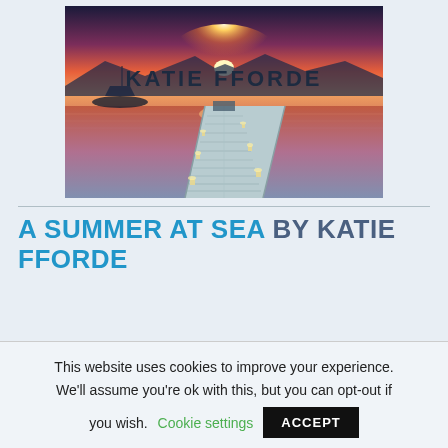[Figure (photo): Book cover image showing a wooden dock/pier extending toward a sunset over calm water. Candles are lit along the sides of the dock. A boat is visible in the background. The author name 'KATIE FFORDE' is overlaid in large dark letters at the bottom of the image.]
A SUMMER AT SEA BY KATIE FFORDE
This website uses cookies to improve your experience. We'll assume you're ok with this, but you can opt-out if you wish. Cookie settings ACCEPT